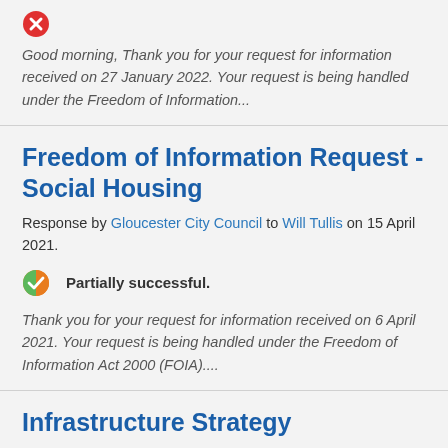[Figure (logo): Red circle icon with white X, representing a refused/unsuccessful status]
Good morning, Thank you for your request for information received on 27 January 2022. Your request is being handled under the Freedom of Information...
Freedom of Information Request - Social Housing
Response by Gloucester City Council to Will Tullis on 15 April 2021.
[Figure (logo): Green circle with orange and white checkmark icon representing partially successful status]
Partially successful.
Thank you for your request for information received on 6 April 2021. Your request is being handled under the Freedom of Information Act 2000 (FOIA)....
Infrastructure Strategy